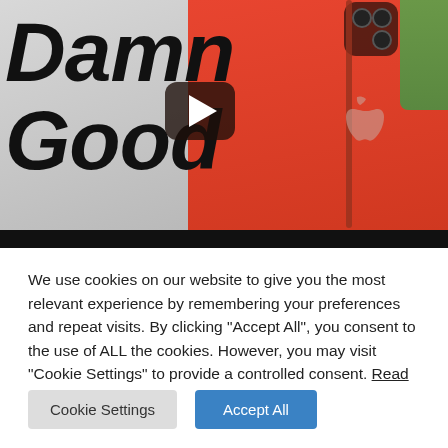[Figure (screenshot): Video thumbnail showing bold italic text 'Damn Good' on the left over a gray background, and a red iPhone on the right side. A dark play button is centered over the thumbnail. A black progress bar appears at the bottom of the thumbnail.]
We use cookies on our website to give you the most relevant experience by remembering your preferences and repeat visits. By clicking "Accept All", you consent to the use of ALL the cookies. However, you may visit "Cookie Settings" to provide a controlled consent. Read More